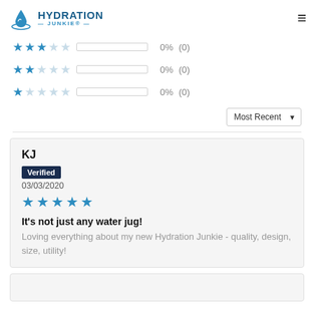HYDRATION JUNKIE
[Figure (other): Star rating rows: 3-star 0% (0), 2-star 0% (0), 1-star 0% (0) with empty progress bars]
[Figure (other): Sort dropdown: Most Recent]
KJ
Verified
03/03/2020
★★★★★
It's not just any water jug!
Loving everything about my new Hydration Junkie - quality, design, size, utility!